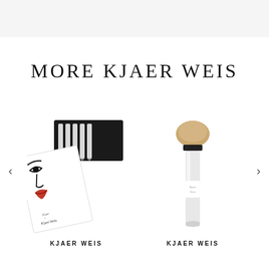MORE KJAER WEIS
[Figure (photo): Kjaer Weis pencil set in black box with white branded face illustration packaging]
KJAER WEIS
[Figure (photo): Kjaer Weis foundation brush with gold bristles and white/silver handle]
KJAER WEIS